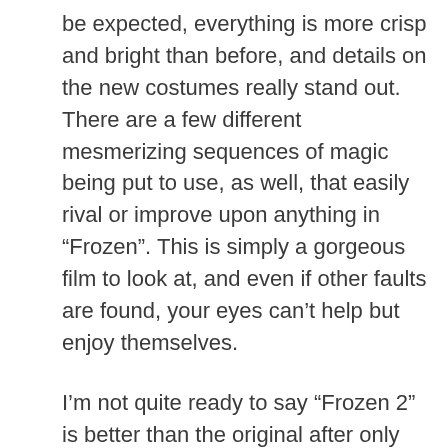be expected, everything is more crisp and bright than before, and details on the new costumes really stand out. There are a few different mesmerizing sequences of magic being put to use, as well, that easily rival or improve upon anything in “Frozen”. This is simply a gorgeous film to look at, and even if other faults are found, your eyes can’t help but enjoy themselves.
I’m not quite ready to say “Frozen 2” is better than the original after only one viewing, but the feeling I had while watching it was similar, and I think it comes awfully close. Time will also be needed to tell whether the entire soundtrack becomes as unforgettable as the first film’s. But on the strength of deeper themes, solid character development all-around, some fantastic humor, and a dose of that Disney magic, “Frozen 2” is a